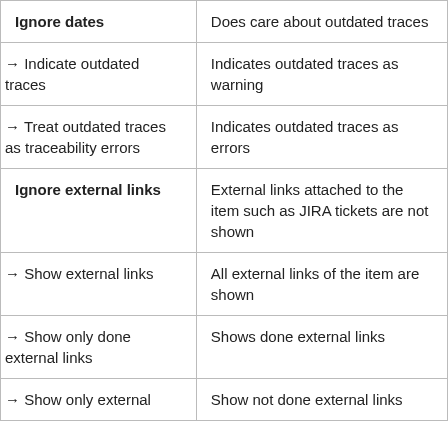| Ignore dates | Does care about outdated traces |
| → Indicate outdated traces | Indicates outdated traces as warning |
| → Treat outdated traces as traceability errors | Indicates outdated traces as errors |
| Ignore external links | External links attached to the item such as JIRA tickets are not shown |
| → Show external links | All external links of the item are shown |
| → Show only done external links | Shows done external links |
| → Show only external | Show not done external links |